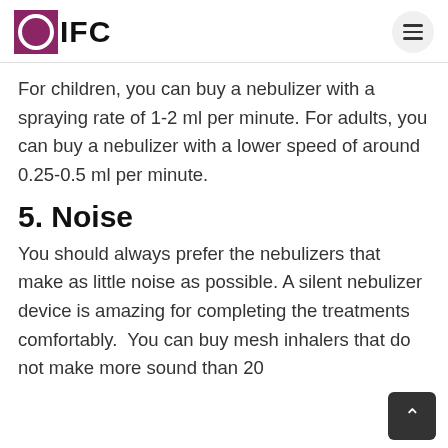OIFC
For children, you can buy a nebulizer with a spraying rate of 1-2 ml per minute. For adults, you can buy a nebulizer with a lower speed of around 0.25-0.5 ml per minute.
5. Noise
You should always prefer the nebulizers that make as little noise as possible. A silent nebulizer device is amazing for completing the treatments comfortably.  You can buy mesh inhalers that do not make more sound than 20